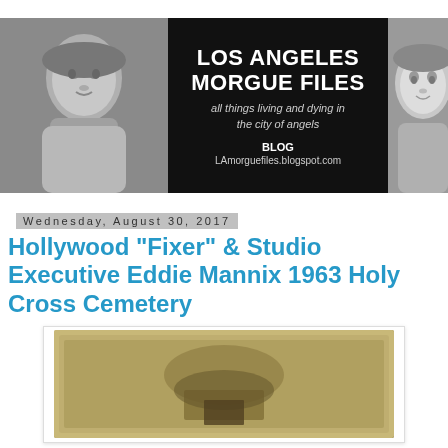[Figure (photo): Los Angeles Morgue Files blog banner with black and white photo of a man on the left, center black panel with blog title and URL, and black and white photo of a woman on the right]
Wednesday, August 30, 2017
Hollywood "Fixer" & Studio Executive Eddie Mannix 1963 Holy Cross Cemetery
[Figure (photo): Sepia-toned vintage photograph showing what appears to be a gravestone or cemetery marker]